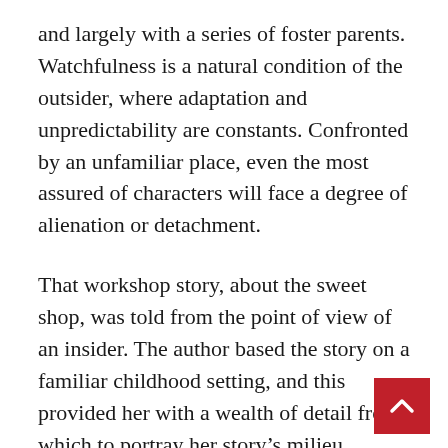and largely with a series of foster parents. Watchfulness is a natural condition of the outsider, where adaptation and unpredictability are constants. Confronted by an unfamiliar place, even the most assured of characters will face a degree of alienation or detachment.
That workshop story, about the sweet shop, was told from the point of view of an insider. The author based the story on a familiar childhood setting, and this provided her with a wealth of detail from which to portray her story's milieu. Nevertheless, she feared having to qualify the terms of this world, and that the local parlance for flora and fauna, for example, would slow the story down. It's this burden of explanation that often prevents my students from using detail that is so fundamental